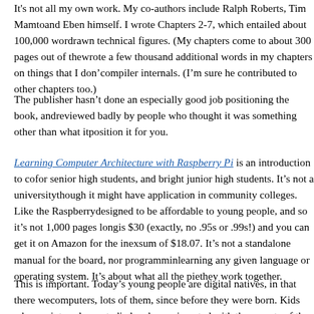It's not all my own work. My co-authors include Ralph Roberts, Tim Mamtora, and Eben himself. I wrote Chapters 2-7, which entailed about 100,000 words and drawn technical figures. (My chapters come to about 300 pages out of the … wrote a few thousand additional words in my chapters on things that I don't … compiler internals. (I'm sure he contributed to other chapters too.)
The publisher hasn't done an especially good job positioning the book, and … reviewed badly by people who thought it was something other than what it … position it for you.
Learning Computer Architecture with Raspberry Pi is an introduction to com… for senior high students, and bright junior high students. It's not a university … though it might have application in community colleges. Like the Raspberry … designed to be affordable to young people, and so it's not 1,000 pages long… is $30 (exactly, no .95s or .99s!) and you can get it on Amazon for the inexp… sum of $18.07. It's not a standalone manual for the board, nor programmin… learning any given language or operating system. It's about what all the pie… they work together.
This is important. Today's young people are digital natives, in that there we… computers, lots of them, since before they were born. Kids who are interes… have studied and experimented with those parts of the computer that intere… the sort of learning that trips up autodidacts, since it runs very deep in plac…